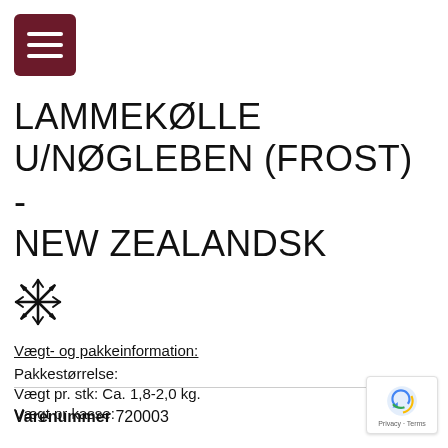[Figure (illustration): Hamburger menu button icon — dark red/maroon rounded square with three white horizontal bars]
LAMMEKØLLE U/NØGLEBEN (FROST) - NEW ZEALANDSK
[Figure (illustration): Snowflake icon indicating frozen product]
Vægt- og pakkeinformation: (underlined)
Pakkestørrelse:
Vægt pr. stk: Ca. 1,8-2,0 kg.
Vægt pr kasse:
Varenummer 720003